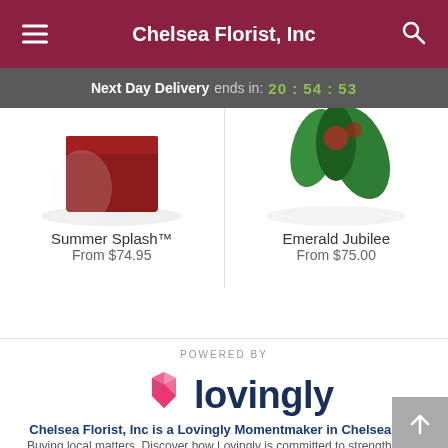Chelsea Florist, Inc
Next Day Delivery ends in: 20 : 54 : 53
[Figure (photo): Product image left: Summer Splash floral arrangement with red box]
Summer Splash™
From $74.95
[Figure (photo): Product image right: Emerald Jubilee floral arrangement with green leaves]
Emerald Jubilee
From $75.00
[Figure (logo): Lovingly logo with heart icon]
POWERED BY
Chelsea Florist, Inc is a Lovingly Momentmaker in Chelsea, NY.
Buying local matters. Discover how Lovingly is committed to strengthening